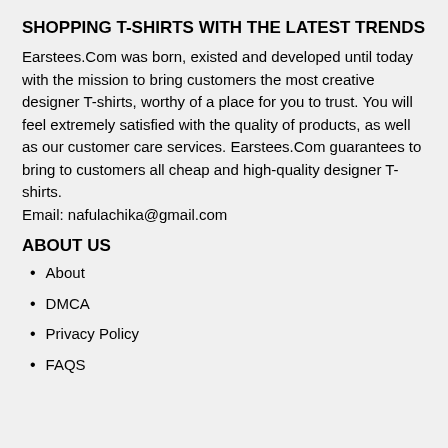SHOPPING T-SHIRTS WITH THE LATEST TRENDS
Earstees.Com was born, existed and developed until today with the mission to bring customers the most creative designer T-shirts, worthy of a place for you to trust. You will feel extremely satisfied with the quality of products, as well as our customer care services. Earstees.Com guarantees to bring to customers all cheap and high-quality designer T-shirts.
Email: nafulachika@gmail.com
ABOUT US
About
DMCA
Privacy Policy
FAQS